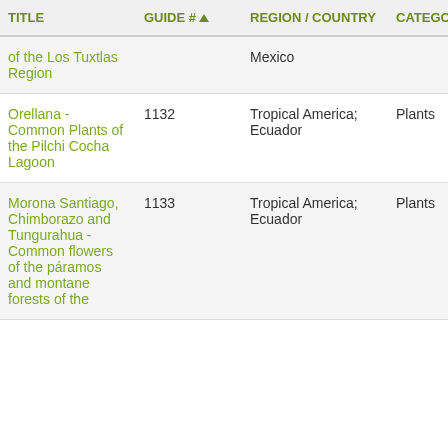| TITLE | GUIDE # | REGION / COUNTRY | CATEGORY / SU |
| --- | --- | --- | --- |
| of the Los Tuxtlas Region |  | Mexico |  |
| Orellana - Common Plants of the Pilchi Cocha Lagoon | 1132 | Tropical America; Ecuador | Plants |
| Morona Santiago, Chimborazo and Tungurahua - Common flowers of the páramos and montane forests of the | 1133 | Tropical America; Ecuador | Plants |